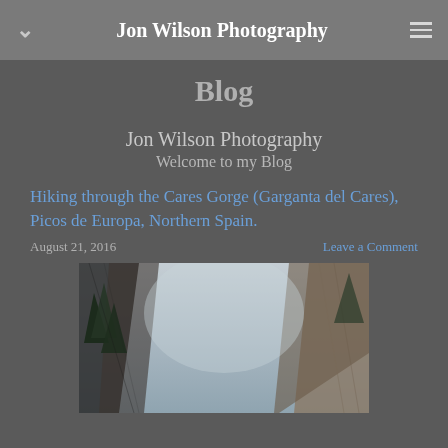Jon Wilson Photography
Blog
Jon Wilson Photography
Welcome to my Blog
Hiking through the Cares Gorge (Garganta del Cares), Picos de Europa, Northern Spain.
August 21, 2016
Leave a Comment
[Figure (photo): Photograph looking up through the Cares Gorge with steep rocky cliff faces and trees visible against a pale overcast sky]